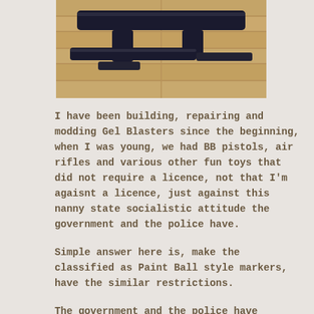[Figure (photo): Gel blasters / toy guns lying on a wooden floor surface, viewed from above]
I have been building, repairing and modding Gel Blasters since the beginning, when I was young, we had BB pistols, air rifles and various other fun toys that did not require a licence, not that I'm agaisnt a licence, just against this nanny state socialistic attitude the government and the police have.
Simple answer here is, make the classified as Paint Ball style markers, have the similar restrictions.
The government and the police have totally